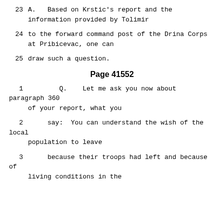23   A.   Based on Krstic's report and the information provided by Tolimir
24   to the forward command post of the Drina Corps at Pribicevac, one can
25   draw such a question.
Page 41552
1   Q.   Let me ask you now about paragraph 360 of your report, what you
2   say:  You can understand the wish of the local population to leave
3   because their troops had left and because of living conditions in the